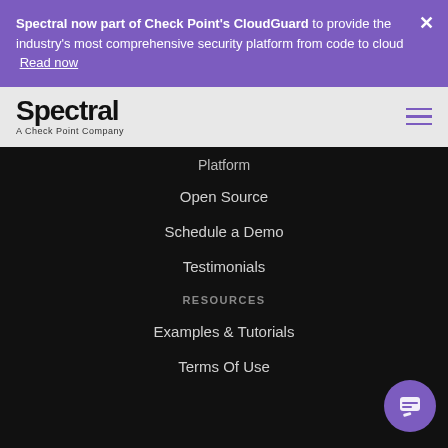Spectral now part of Check Point's CloudGuard to provide the industry's most comprehensive security platform from code to cloud  Read now
[Figure (logo): Spectral logo - A Check Point Company, black bold text on gray background]
Platform
Open Source
Schedule a Demo
Testimonials
RESOURCES
Examples & Tutorials
Terms Of Use